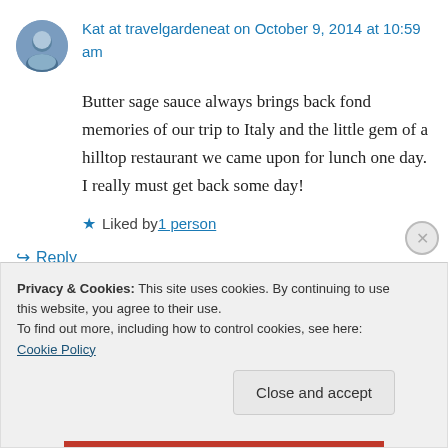Kat at travelgardeneat on October 9, 2014 at 10:59 am
Butter sage sauce always brings back fond memories of our trip to Italy and the little gem of a hilltop restaurant we came upon for lunch one day. I really must get back some day!
Liked by 1 person
Reply
Privacy & Cookies: This site uses cookies. By continuing to use this website, you agree to their use. To find out more, including how to control cookies, see here: Cookie Policy
Close and accept